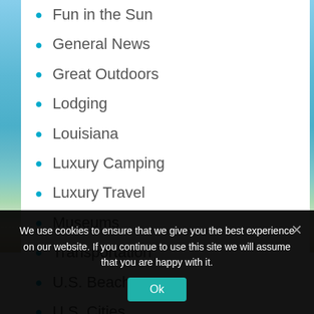Fun in the Sun
General News
Great Outdoors
Lodging
Louisiana
Luxury Camping
Luxury Travel
Museums
Transportation
U.S. Beaches
U.S. Cities
We use cookies to ensure that we give you the best experience on our website. If you continue to use this site we will assume that you are happy with it.